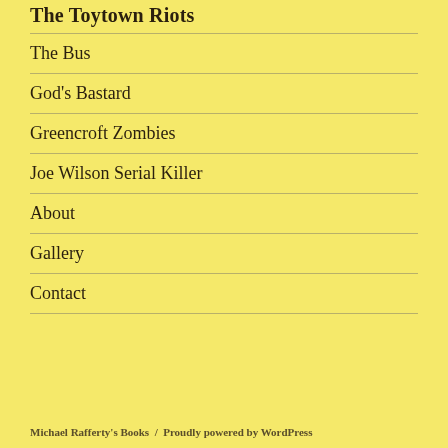The Toytown Riots
The Bus
God's Bastard
Greencroft Zombies
Joe Wilson Serial Killer
About
Gallery
Contact
Michael Rafferty's Books  /  Proudly powered by WordPress